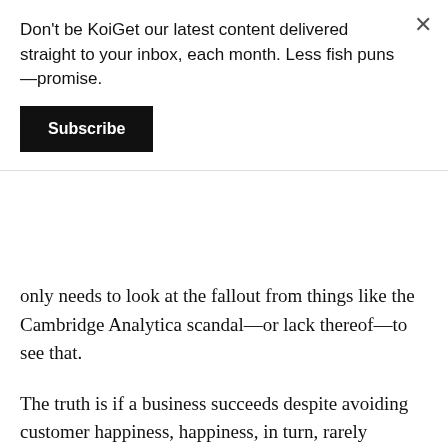Don't be KoiGet our latest content delivered straight to your inbox, each month. Less fish puns—promise.
Subscribe
only needs to look at the fallout from things like the Cambridge Analytica scandal—or lack thereof—to see that.
The truth is if a business succeeds despite avoiding customer happiness, happiness, in turn, rarely becomes crucial.
And why would it? After all, it's an additional expense fiscally-driven companies don't really want or need.
As consumers, it's frustrating. But short of self-indulgent blog posts that do little more than satisfy the authors burning need to vent, what more can we actually do?